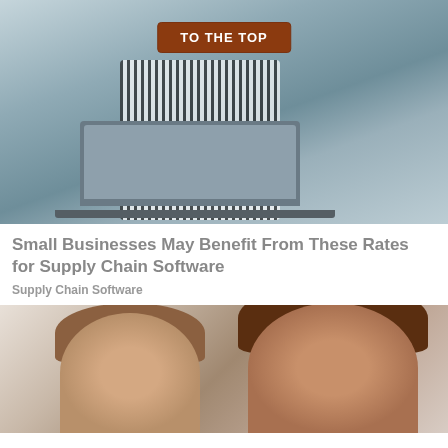[Figure (photo): A person in a striped shirt working on a laptop at a desk in an office setting. An orange button overlay reads 'TO THE TOP' in white bold text.]
Small Businesses May Benefit From These Rates for Supply Chain Software
Supply Chain Software
[Figure (photo): A person holding their head in their hands in distress, with another person partially visible beside them.]